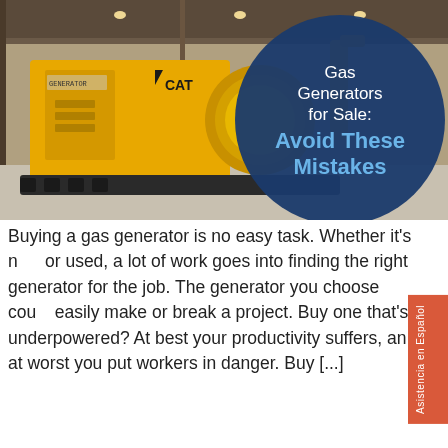[Figure (photo): A large yellow CAT gas generator inside an industrial warehouse. A dark blue circular overlay on the right side contains text: 'Gas Generators for Sale: Avoid These Mistakes' with 'Avoid These Mistakes' in bold light blue text.]
Buying a gas generator is no easy task. Whether it's new or used, a lot of work goes into finding the right generator for the job. The generator you choose could easily make or break a project. Buy one that's underpowered? At best your productivity suffers, and at worst you put workers in danger. Buy [...]